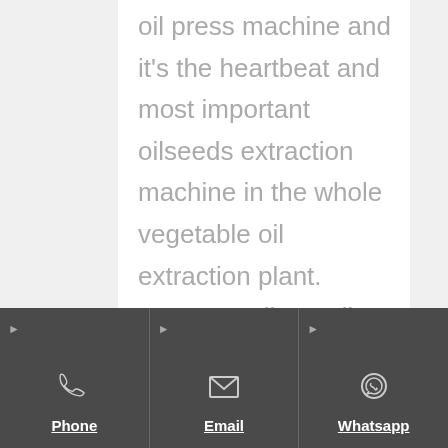oil press machine and it's the heartbeat and most important oilseeds extraction machine in the whole vegetable oil extraction plant. GOYUM Oil Expeller is suitable for small scale, medium and large scale oil extraction plant. GOYUM is an ISO certified manufacturer and exporter of oil expeller machines.
Send Inquiry
Phone | Email | Whatsapp